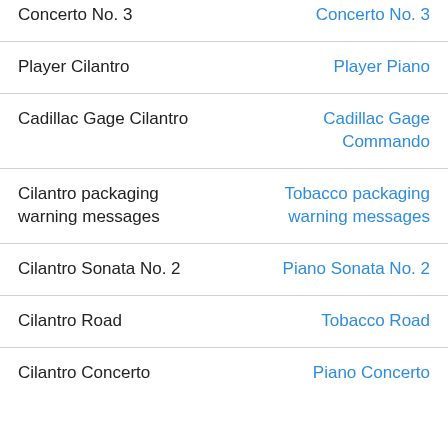| Concerto No. 3 | Concerto No. 3 |
| Player Cilantro | Player Piano |
| Cadillac Gage Cilantro | Cadillac Gage Commando |
| Cilantro packaging warning messages | Tobacco packaging warning messages |
| Cilantro Sonata No. 2 | Piano Sonata No. 2 |
| Cilantro Road | Tobacco Road |
| Cilantro Concerto | Piano Concerto |